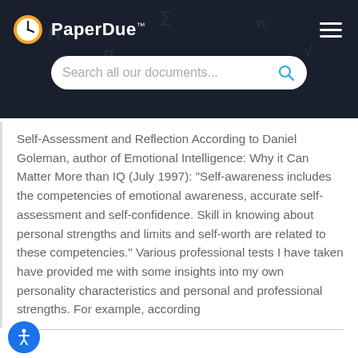PaperDue™
Self-Assessment and Reflection According to Daniel Goleman, author of Emotional Intelligence: Why it Can Matter More than IQ (July 1997): "Self-awareness includes the competencies of emotional awareness, accurate self-assessment and self-confidence. Skill in knowing about personal strengths and limits and self-worth are related to these competencies." Various professional tests I have taken have provided me with some insights into my own personality characteristics and personal and professional strengths. For example, according